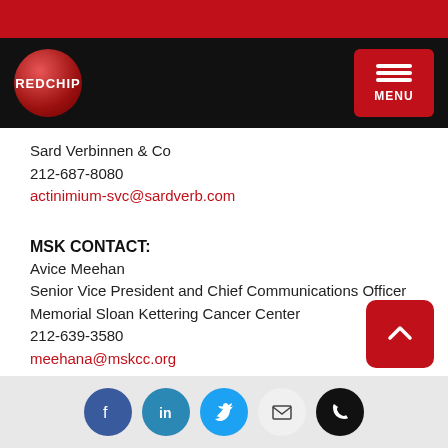[Figure (logo): RedChip logo - red sphere with REDCHIP text, in black navigation bar with red MENU button]
Sard Verbinnen & Co
212-687-8080
actinimium-svc@sardverb.com
MSK CONTACT:
Avice Meehan
Senior Vice President and Chief Communications Officer
Memorial Sloan Kettering Cancer Center
212-639-3580
meehana@mskcc.org
[Figure (photo): Broken/missing image icon]
Marketwired
December 24, 2015 - 1:00 PM EST
News by QuoteMedia
www.quotemedia.com